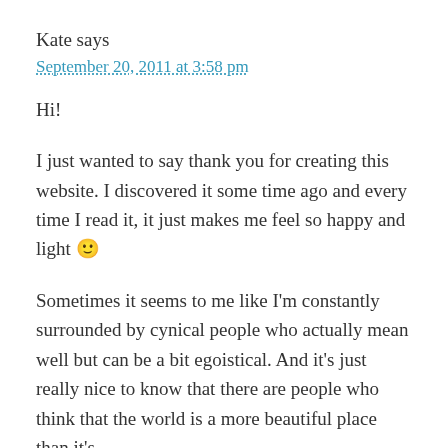Kate says
September 20, 2011 at 3:58 pm
Hi!
I just wanted to say thank you for creating this website. I discovered it some time ago and every time I read it, it just makes me feel so happy and light 🙂
Sometimes it seems to me like I'm constantly surrounded by cynical people who actually mean well but can be a bit egoistical. And it's just really nice to know that there are people who think that the world is a more beautiful place than it's